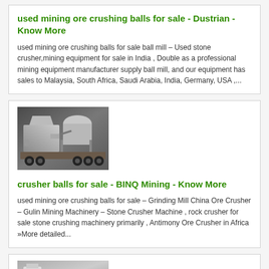used mining ore crushing balls for sale - Dustrian - Know More
used mining ore crushing balls for sale ball mill – Used stone crusher,mining equipment for sale in India , Double as a professional mining equipment manufacturer supply ball mill, and our equipment has sales to Malaysia, South Africa, Saudi Arabia, India, Germany, USA ,...
[Figure (photo): Photo of a mobile mining/crushing machine on a truck trailer, industrial grey background]
crusher balls for sale - BINQ Mining - Know More
used mining ore crushing balls for sale – Grinding Mill China Ore Crusher – Gulin Mining Machinery – Stone Crusher Machine , rock crusher for sale stone crushing machinery primarily , Antimony Ore Crusher in Africa »More detailed...
[Figure (photo): Photo of industrial mining or crushing equipment, partially visible at bottom of page]